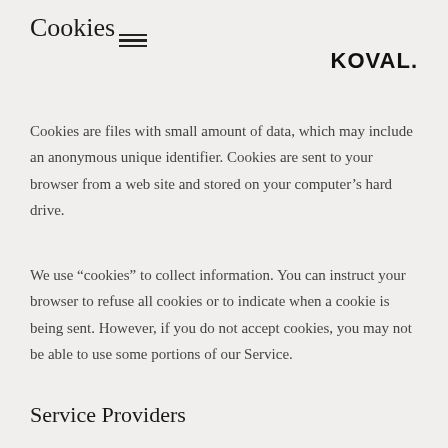Cookies
[Figure (other): Hamburger menu icon (three horizontal lines)]
KOVAL
Cookies are files with small amount of data, which may include an anonymous unique identifier. Cookies are sent to your browser from a web site and stored on your computer’s hard drive.
We use “cookies” to collect information. You can instruct your browser to refuse all cookies or to indicate when a cookie is being sent. However, if you do not accept cookies, you may not be able to use some portions of our Service.
Service Providers